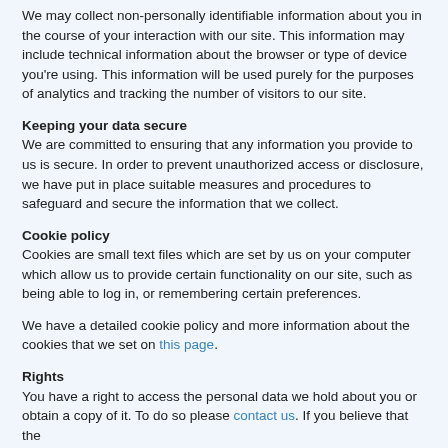We may collect non-personally identifiable information about you in the course of your interaction with our site. This information may include technical information about the browser or type of device you're using. This information will be used purely for the purposes of analytics and tracking the number of visitors to our site.
Keeping your data secure
We are committed to ensuring that any information you provide to us is secure. In order to prevent unauthorized access or disclosure, we have put in place suitable measures and procedures to safeguard and secure the information that we collect.
Cookie policy
Cookies are small text files which are set by us on your computer which allow us to provide certain functionality on our site, such as being able to log in, or remembering certain preferences.
We have a detailed cookie policy and more information about the cookies that we set on this page.
Rights
You have a right to access the personal data we hold about you or obtain a copy of it. To do so please contact us. If you believe that the